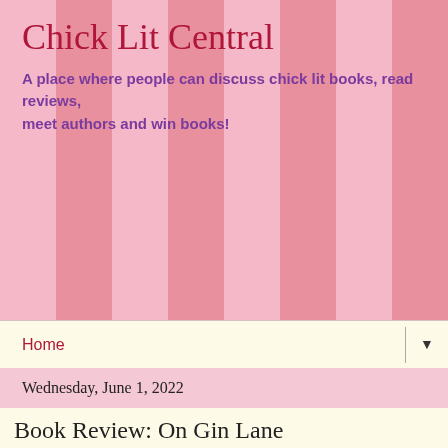Chick Lit Central
A place where people can discuss chick lit books, read reviews, meet authors and win books!
Home ▼
Wednesday, June 1, 2022
Book Review: On Gin Lane
By Cindy Roesel
As a youngster growing up on Long Island, during spring and summer months my family would drive the hour and a half out east to visit The Hamptons, particularly
[Figure (illustration): Book cover of 'On Gin Lane' with a turquoise/teal background, gold serif text reading ON GIN LANE, framed with a gold border]